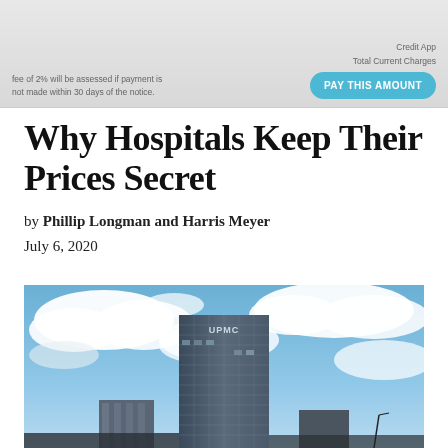[Figure (screenshot): Partial view of a hospital bill showing text about payment fees and a teal 'PAY THIS AMOUNT' button, along with 'Credit App' and 'Total Current Charges' labels on the right.]
Why Hospitals Keep Their Prices Secret
by Phillip Longman and Harris Meyer
July 6, 2020
[Figure (photo): Low-angle photograph of the UPMC skyscraper tower against a dramatic blue sky with white clouds. The tall glass and steel building dominates the center of the frame, with smaller buildings visible at the lower edges.]